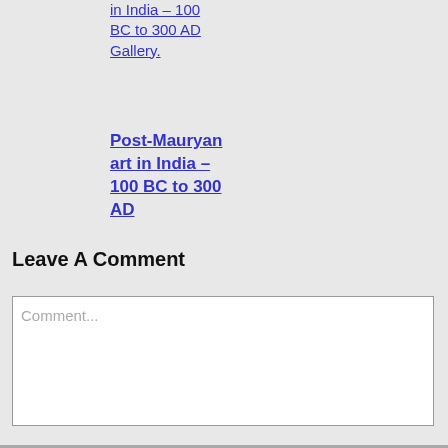in India – 100 BC to 300 AD Gallery.
Post-Mauryan art in India – 100 BC to 300 AD
September 13th, 2017 | 0 Comments
Leave A Comment
Comment...